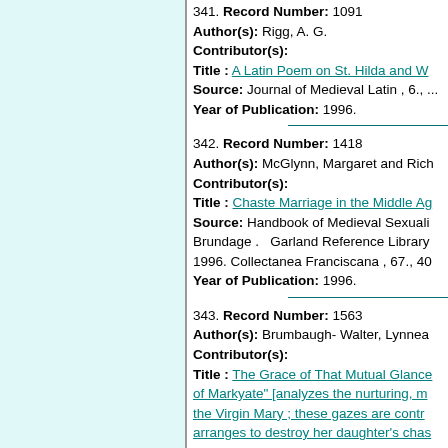341. Record Number: 1091
Author(s): Rigg, A. G.
Contributor(s):
Title : A Latin Poem on St. Hilda and W...
Source: Journal of Medieval Latin , 6., ...
Year of Publication: 1996.
342. Record Number: 1418
Author(s): McGlynn, Margaret and Rich...
Contributor(s):
Title : Chaste Marriage in the Middle Ag...
Source: Handbook of Medieval Sexuali... Brundage . Garland Reference Library... 1996. Collectanea Franciscana , 67., 40...
Year of Publication: 1996.
343. Record Number: 1563
Author(s): Brumbaugh- Walter, Lynnea...
Contributor(s):
Title : The Grace of That Mutual Glance... of Markyate" [analyzes the nurturing, m... the Virgin Mary ; these gazes are contr... arranges to destroy her daughter's chas...
Source: Medieval Perspectives , 11., ( ... First Annual Conference of the Southea...
Year of Publication: 1996.
344. Record Number: 2450